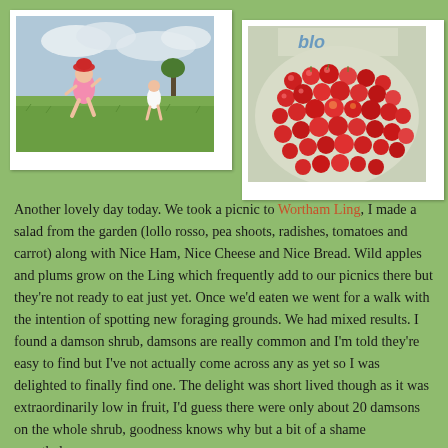[Figure (photo): Two children playing in an open grassy field under a cloudy sky. One child in a pink dress and red hat is running.]
[Figure (photo): A bag or container filled with small red cherries or berries, with a logo partially visible at the top.]
Another lovely day today. We took a picnic to Wortham Ling, I made a salad from the garden (lollo rosso, pea shoots, radishes, tomatoes and carrot) along with Nice Ham, Nice Cheese and Nice Bread. Wild apples and plums grow on the Ling which frequently add to our picnics there but they're not ready to eat just yet. Once we'd eaten we went for a walk with the intention of spotting new foraging grounds. We had mixed results. I found a damson shrub, damsons are really common and I'm told they're easy to find but I've not actually come across any as yet so I was delighted to finally find one. The delight was short lived though as it was extraordinarily low in fruit, I'd guess there were only about 20 damsons on the whole shrub, goodness knows why but a bit of a shame nonetheless.
I also thought I found a service tree and some puffball mushrooms